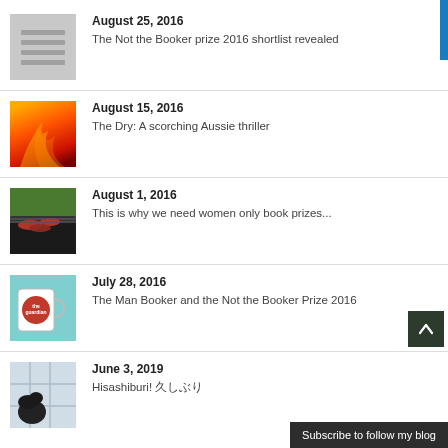[Figure (illustration): Grey placeholder thumbnail with horizontal lines]
August 25, 2016
The Not the Booker prize 2016 shortlist revealed
[Figure (photo): Fire/flames orange red photo thumbnail]
August 15, 2016
The Dry: A scorching Aussie thriller
[Figure (photo): BBQ/sausages on grill photo thumbnail]
August 1, 2016
This is why we need women only book prizes...
[Figure (photo): Teal mug with red guardian circle logo thumbnail]
July 28, 2016
The Man Booker and the Not the Booker Prize 2016
[Figure (photo): Black dog looking out of window photo thumbnail]
June 3, 2019
Hisashiburi! 久しぶり
Subscribe to follow my blog